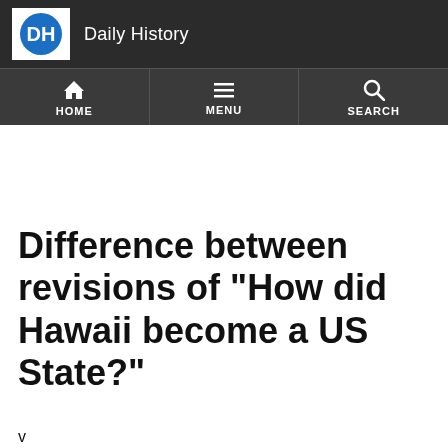Daily History
Difference between revisions of "How did Hawaii become a US State?"
v